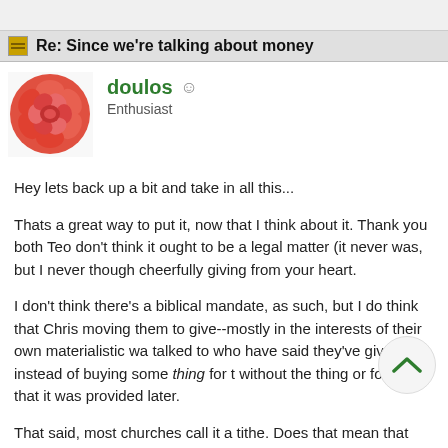Re: Since we're talking about money
doulos  Enthusiast
Hey lets back up a bit and take in all this...
Thats a great way to put it, now that I think about it. Thank you both Teo don't think it ought to be a legal matter (it never was, but I never though cheerfully giving from your heart.
I don't think there's a biblical mandate, as such, but I do think that Chris moving them to give--mostly in the interests of their own materialistic wa talked to who have said they've given instead of buying some thing for t without the thing or found that it was provided later.
That said, most churches call it a tithe. Does that mean that they are de